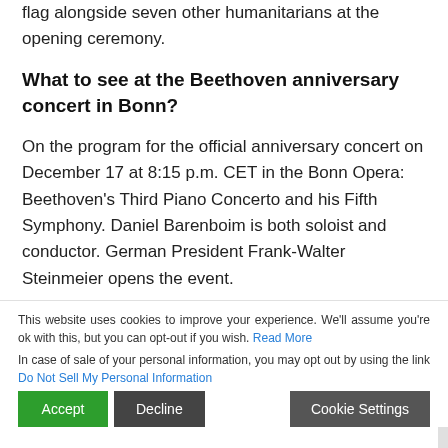flag alongside seven other humanitarians at the opening ceremony.
What to see at the Beethoven anniversary concert in Bonn?
On the program for the official anniversary concert on December 17 at 8:15 p.m. CET in the Bonn Opera: Beethoven's Third Piano Concerto and his Fifth Symphony. Daniel Barenboim is both soloist and conductor. German President Frank-Walter Steinmeier opens the event.
What happened to Beethoven at Proms 2012?
Friday, July 27th, 2012 marked the conclusion of the
This website uses cookies to improve your experience. We'll assume you're ok with this, but you can opt-out if you wish. Read More In case of sale of your personal information, you may opt out by using the link Do Not Sell My Personal Information